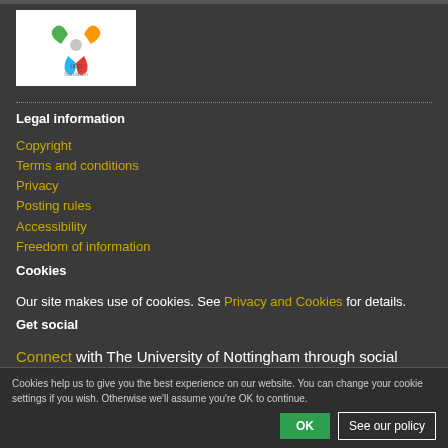[Figure (logo): UPP Foundation logo with colorful pinwheel and text 'upp foundation']
Legal information
Copyright
Terms and conditions
Privacy
Posting rules
Accessibility
Freedom of information
Cookies
Our site makes use of cookies. See Privacy and Cookies for details.
Get social
Connect with The University of Nottingham through social media.
Cookies help us to give you the best experience on our website. You can change your cookie settings if you wish. Otherwise we'll assume you're OK to continue.